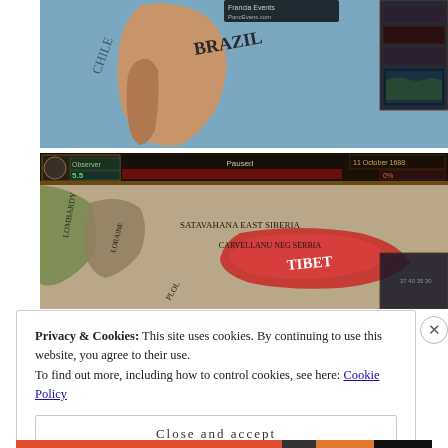[Figure (screenshot): Screenshot of a map-based strategy game showing South America with Brazil and Chile labeled, blue ocean background, UI panel on right side with dark interface elements]
[Figure (screenshot): Screenshot of a map-based strategy game showing Asia with regions labeled: SATAVAHANA EAST SIBERIA, CARVELLANU NEG SERBIA, TIBET, with HUD bar at top showing game stats, dark ornate UI border]
Privacy & Cookies: This site uses cookies. By continuing to use this website, you agree to their use.
To find out more, including how to control cookies, see here: Cookie Policy
Close and accept